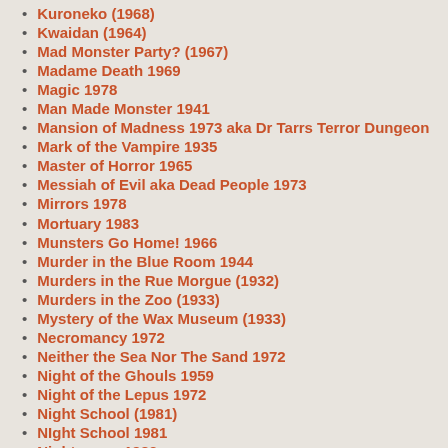Kuroneko (1968)
Kwaidan (1964)
Mad Monster Party? (1967)
Madame Death 1969
Magic 1978
Man Made Monster 1941
Mansion of Madness 1973 aka Dr Tarrs Terror Dungeon
Mark of the Vampire 1935
Master of Horror 1965
Messiah of Evil aka Dead People 1973
Mirrors 1978
Mortuary 1983
Munsters Go Home! 1966
Murder in the Blue Room 1944
Murders in the Rue Morgue (1932)
Murders in the Zoo (1933)
Mystery of the Wax Museum (1933)
Necromancy 1972
Neither the Sea Nor The Sand 1972
Night of the Ghouls 1959
Night of the Lepus 1972
Night School (1981)
NIght School 1981
Nightmares 1983
Old Dracula 1973